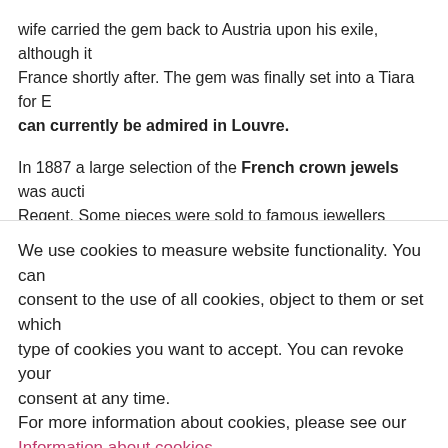wife carried the gem back to Austria upon his exile, although it France shortly after. The gem was finally set into a Tiara for E can currently be admired in Louvre.
In 1887 a large selection of the French crown jewels was aucti Regent. Some pieces were sold to famous jewellers including B
The same last adventure took place during World War II. The R...
We use cookies to measure website functionality. You can consent to the use of all cookies, object to them or set which type of cookies you want to accept. You can revoke your consent at any time.
For more information about cookies, please see our Information about cookies.
Accept
Reject
Edit